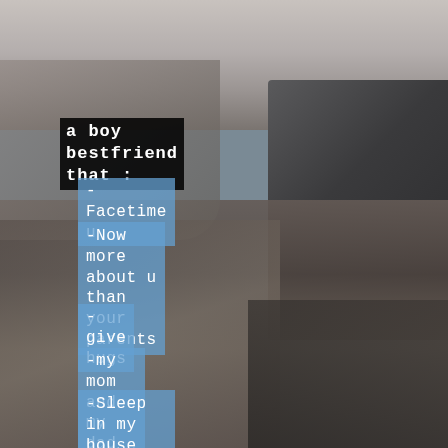[Figure (photo): Background photo of two people inside a car, showing the car ceiling, a dark pillar/window on the right, and hands/arms of the people in the lower portion. Muted, desaturated tones.]
a boy bestfriend that :
-Facetime u
-Now more about u than your parents
-give hugs
-my mom and my dad trust
-Sleep in my house with out problems